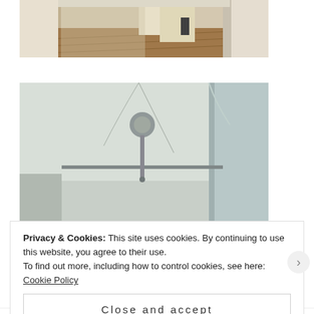[Figure (photo): Interior hallway of a house showing wooden floors, white walls with doorways, and natural light at the end of the corridor]
[Figure (photo): Interior ceiling view of a room showing a ceiling light fixture with a metal rod and circular mount, with white walls and molding visible]
Privacy & Cookies: This site uses cookies. By continuing to use this website, you agree to their use.
To find out more, including how to control cookies, see here: Cookie Policy
Close and accept